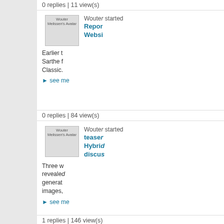0 replies | 11 view(s)
[Figure (illustration): Wouter Melissen's Avatar - user avatar image placeholder]
Wouter started Report Website
Earlier t... Sarthe f... Classic...
see more
0 replies | 84 view(s)
[Figure (illustration): Wouter Melissen's Avatar - user avatar image placeholder]
Wouter started teaser Hybrid discus
Three w... revealed... generat... images,
see more
1 replies | 146 view(s)